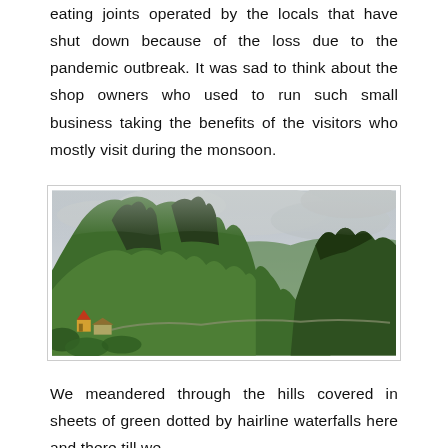eating joints operated by the locals that have shut down because of the loss due to the pandemic outbreak. It was sad to think about the shop owners who used to run such small business taking the benefits of the visitors who mostly visit during the monsoon.
[Figure (photo): Lush green hills with rocky peaks shrouded in clouds during monsoon season. A small temple or shrine structure is visible at the lower left. A winding road can be seen along the hillside.]
We meandered through the hills covered in sheets of green dotted by hairline waterfalls here and there till we